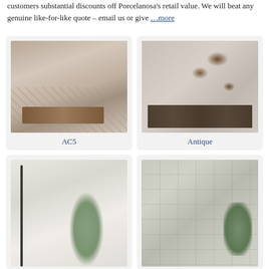customers substantial discounts off Porcelanosa's retail value. We will beat any genuine like-for-like quote – email us or give …more
[Figure (photo): Bedroom scene with herringbone wood-look floor tiles and a wooden bench at the foot of a bed]
AC5
[Figure (photo): Decorative patterned wall tiles with cupcake stand and espresso glasses on counter]
Antique
[Figure (photo): Bathroom with marble wall tiles, plant, and bath fixtures]
[Figure (photo): Large format grey stone wall tiles with plant]